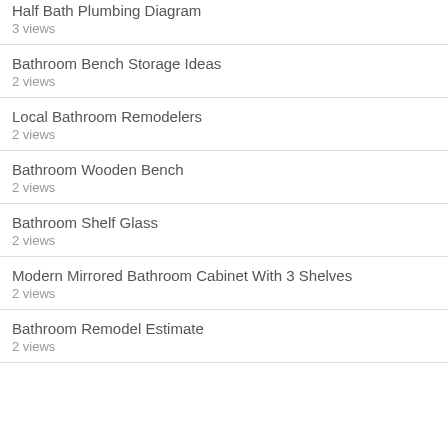Half Bath Plumbing Diagram
3 views
Bathroom Bench Storage Ideas
2 views
Local Bathroom Remodelers
2 views
Bathroom Wooden Bench
2 views
Bathroom Shelf Glass
2 views
Modern Mirrored Bathroom Cabinet With 3 Shelves
2 views
Bathroom Remodel Estimate
2 views